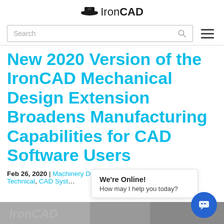IronCAD
Search
New 2020 Version of the IronCAD Mechanical Design Extension Broadens Manufacturing Capabilities for CAD Software Users
Feb 26, 2020 | Machinery Design, Mechanical CAD Technical, CAD Systems
We're Online! How may I help you today?